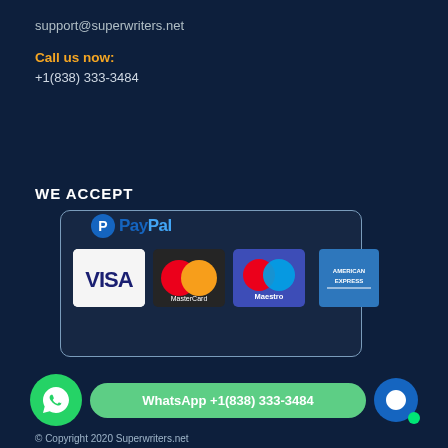support@superwriters.net
Call us now:
+1(838) 333-3484
WE ACCEPT
[Figure (logo): Payment methods banner showing PayPal, VISA, MasterCard, Maestro, and American Express logos in a rounded rectangle border]
WhatsApp +1(838) 333-3484
© Copyright 2020 Superwriters.net